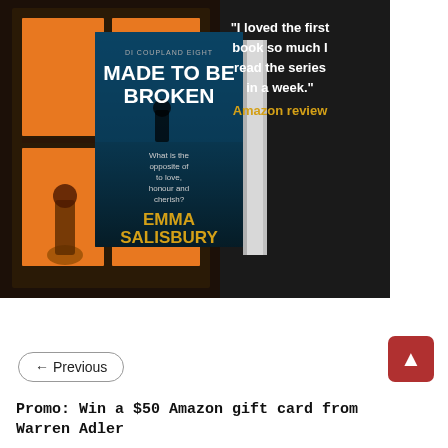[Figure (illustration): Book cover for 'Made to Be Broken' by Emma Salisbury (DI Coupland Eight series), shown as a 3D book with spine visible, set against a dark background with a warm glowing window scene. Text on cover: 'What is the opposite of to love, honour and cherish?' Quote overlay: '"I loved the first book so much I read the series in a week." Amazon review' in white and gold text.]
← Previous
Promo: Win a $50 Amazon gift card from Warren Adler